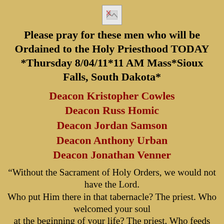[Figure (illustration): Small broken image icon placeholder at top center]
Please pray for these men who will be Ordained to the Holy Priesthood TODAY *Thursday 8/04/11*11 AM Mass*Sioux Falls, South Dakota*
Deacon Kristopher Cowles
Deacon Russ Homic
Deacon Jordan Samson
Deacon Anthony Urban
Deacon Jonathan Venner
“Without the Sacrament of Holy Orders, we would not have the Lord. Who put Him there in that tabernacle? The priest. Who welcomed your soul at the beginning of your life? The priest. Who feeds your soul and gives it strength